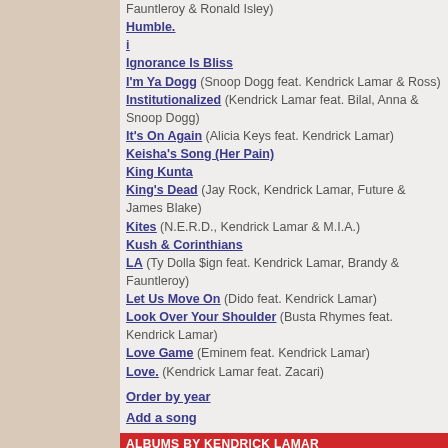Fauntleroy & Ronald Isley)
Humble.
i
Ignorance Is Bliss
I'm Ya Dogg (Snoop Dogg feat. Kendrick Lamar & Ross)
Institutionalized (Kendrick Lamar feat. Bilal, Anna & Snoop Dogg)
It's On Again (Alicia Keys feat. Kendrick Lamar)
Keisha's Song (Her Pain)
King Kunta
King's Dead (Jay Rock, Kendrick Lamar, Future & James Blake)
Kites (N.E.R.D., Kendrick Lamar & M.I.A.)
Kush & Corinthians
LA (Ty Dolla $ign feat. Kendrick Lamar, Brandy & Fauntleroy)
Let Us Move On (Dido feat. Kendrick Lamar)
Look Over Your Shoulder (Busta Rhymes feat. Kendrick Lamar)
Love Game (Eminem feat. Kendrick Lamar)
Love. (Kendrick Lamar feat. Zacari)
Order by year
Add a song
ALBUMS BY KENDRICK LAMAR
Black Panther - The Soundtrack Album
Bloody BarZ - The Come Up
C4
Damn.
Dedicated
Good Kid, M.A.A.D. City
I Am Kendrick
Kendrick Lamar